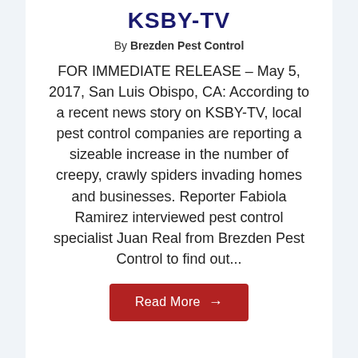KSBY-TV
By Brezden Pest Control
FOR IMMEDIATE RELEASE – May 5, 2017, San Luis Obispo, CA: According to a recent news story on KSBY-TV, local pest control companies are reporting a sizeable increase in the number of creepy, crawly spiders invading homes and businesses. Reporter Fabiola Ramirez interviewed pest control specialist Juan Real from Brezden Pest Control to find out...
Read More →